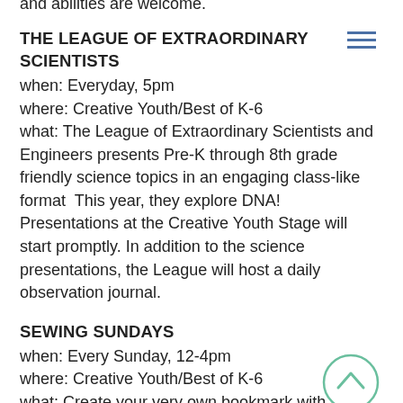and abilities are welcome.
THE LEAGUE OF EXTRAORDINARY SCIENTISTS
when: Everyday, 5pm
where: Creative Youth/Best of K-6
what: The League of Extraordinary Scientists and Engineers presents Pre-K through 8th grade friendly science topics in an engaging class-like format  This year, they explore DNA!
Presentations at the Creative Youth Stage will start promptly. In addition to the science presentations, the League will host a daily observation journal.
SEWING SUNDAYS
when: Every Sunday, 12-4pm
where: Creative Youth/Best of K-6
what: Create your very own bookmark with straight, zig zag or specialty stitches on a sewing machine, with the guidance of a Home Ec Specialist. This is a free make-and-take activity.